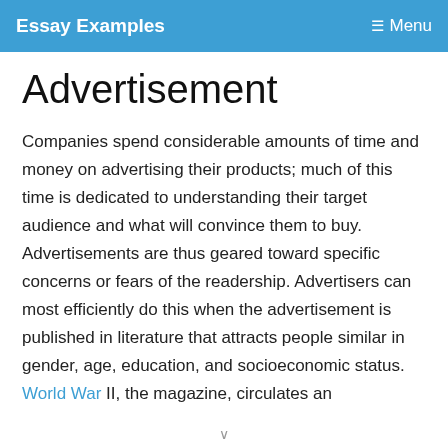Essay Examples   Menu
Advertisement
Companies spend considerable amounts of time and money on advertising their products; much of this time is dedicated to understanding their target audience and what will convince them to buy. Advertisements are thus geared toward specific concerns or fears of the readership. Advertisers can most efficiently do this when the advertisement is published in literature that attracts people similar in gender, age, education, and socioeconomic status. World War II, the magazine, circulates an